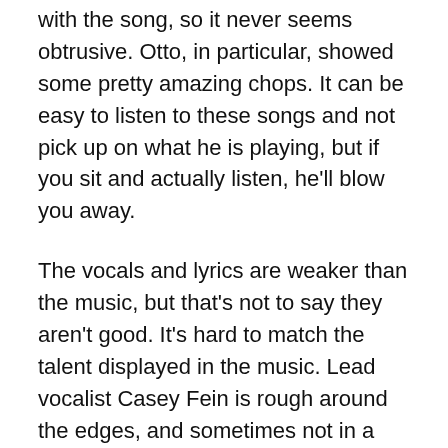with the song, so it never seems obtrusive. Otto, in particular, showed some pretty amazing chops. It can be easy to listen to these songs and not pick up on what he is playing, but if you sit and actually listen, he'll blow you away.
The vocals and lyrics are weaker than the music, but that's not to say they aren't good. It's hard to match the talent displayed in the music. Lead vocalist Casey Fein is rough around the edges, and sometimes not in a good way. For the most part, though, his voice works fairly well for the songs. He does harmonize well with Clifton, and it was always a treat to hear the two singing together on a song. Lyrically, there is nothing truly spectacular. No deep metaphors or use of imagery, just songs about friends, girls, and other assorted aspects of everyday life. And that is fine by